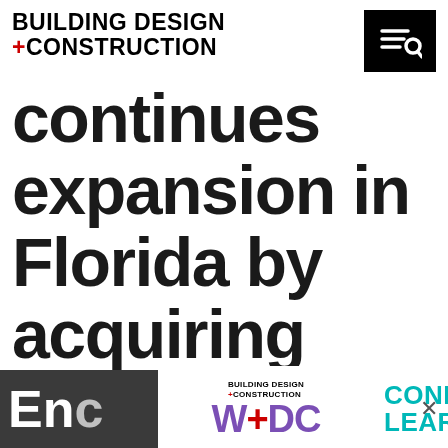BUILDING DESIGN +CONSTRUCTION
continues expansion in Florida by acquiring Erickson Consulting
[Figure (logo): Building Design +Construction logo with WDC text and CONNECT LEARN banner at bottom of page]